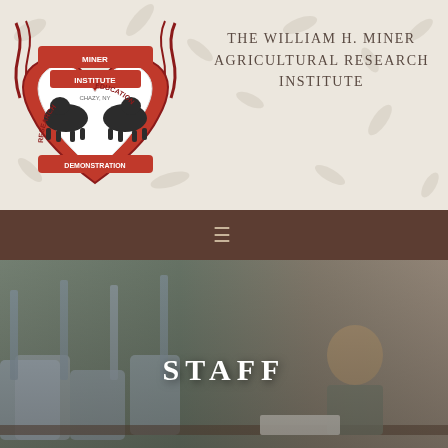[Figure (logo): Miner Institute circular logo with cow imagery, text: MINER INSTITUTE, RESEARCH, EDUCATION, DEMONSTRATION]
THE WILLIAM H. MINER AGRICULTURAL RESEARCH INSTITUTE
[Figure (photo): Laboratory scene with a man working at a bench surrounded by containers and equipment, overlaid with the word STAFF]
STAFF
[Figure (photo): Photo of Amy Bedard]
AMY BEDARD